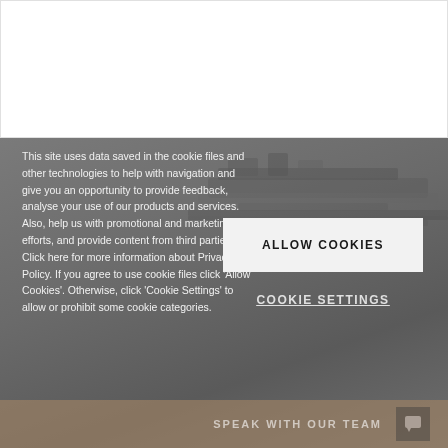[Figure (screenshot): White section at top of webpage, blank content area]
This site uses data saved in the cookie files and other technologies to help with navigation and give you an opportunity to provide feedback, analyse your use of our products and services. Also, help us with promotional and marketing efforts, and provide content from third parties. Click here for more information about Privacy Policy. If you agree to use cookie files click 'Allow Cookies'. Otherwise, click 'Cookie Settings' to allow or prohibit some cookie categories.
ALLOW COOKIES
COOKIE SETTINGS
SPEAK WITH OUR TEAM